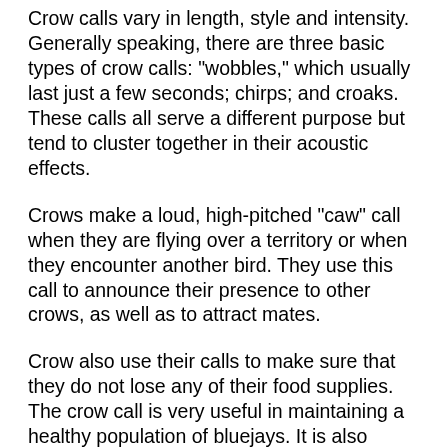Crow calls vary in length, style and intensity. Generally speaking, there are three basic types of crow calls: "wobbles," which usually last just a few seconds; chirps; and croaks. These calls all serve a different purpose but tend to cluster together in their acoustic effects.
Crows make a loud, high-pitched "caw" call when they are flying over a territory or when they encounter another bird. They use this call to announce their presence to other crows, as well as to attract mates.
Crow also use their calls to make sure that they do not lose any of their food supplies. The crow call is very useful in maintaining a healthy population of bluejays. It is also important for the individual crow to learn how to make these calls, as well as to that